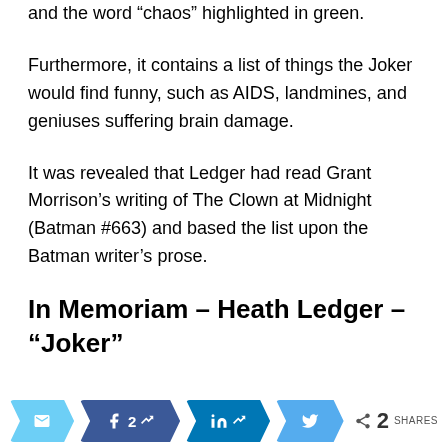and the word “chaos” highlighted in green.
Furthermore, it contains a list of things the Joker would find funny, such as AIDS, landmines, and geniuses suffering brain damage.
It was revealed that Ledger had read Grant Morrison’s writing of The Clown at Midnight (Batman #663) and based the list upon the Batman writer’s prose.
In Memoriam – Heath Ledger – “Joker”
[Figure (infographic): Social sharing buttons row: email (light blue), Facebook with count '2' (dark blue), LinkedIn (medium blue), Twitter (light blue), and a share count showing '2 SHARES']